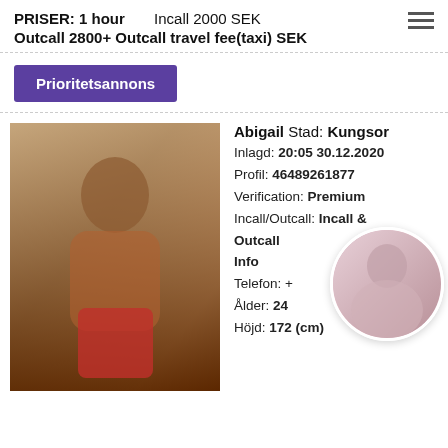PRISER: 1 hour   Incall 2000 SEK   Outcall 2800+ Outcall travel fee(taxi) SEK
Prioritetsannons
[Figure (photo): Photo of a woman in a red skirt standing in a warmly lit room]
Abigail Stad: Kungsor
Inlagd: 20:05 30.12.2020
Profil: 46489261877
Verification: Premium
Incall/Outcall: Incall & Outcall
Info
Telefon: +
Ålder: 24
Höjd: 172 (cm)
[Figure (photo): Circular thumbnail portrait photo]